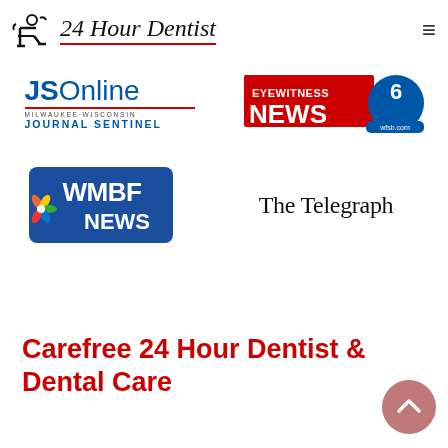[Figure (logo): 24 Hour Dentist website header with dentist chair icon logo and italic text '24 Hour Dentist', hamburger menu icon on right]
[Figure (logo): JSOnline Milwaukee-Wisconsin Journal Sentinel logo in blue]
[Figure (logo): Eyewitness News 6 WFSB logo with blue globe]
[Figure (logo): WMBF News logo with NBC peacock]
[Figure (logo): The Telegraph newspaper logo in serif blackletter font]
Carefree 24 Hour Dentist & Dental Care